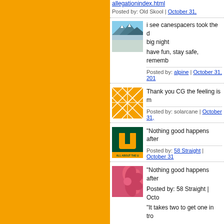allegationindex.html
Posted by: Old Skool | October 31,
[Figure (photo): Mountain landscape avatar with blue sky and snow]
i see canespacers took the d big night
have fun, stay safe, rememb
Posted by: alpine | October 31, 201
[Figure (illustration): Orange geometric grid pattern avatar]
Thank you CG the feeling is m
Posted by: solarcane | October 31,
[Figure (logo): Miami Hurricanes U logo - All About The U]
"Nothing good happens after
Posted by: 58 Straight | October 31
[Figure (illustration): Pink geometric petal/leaf pattern avatar]
"Nothing good happens after
Posted by: 58 Straight | Octo
"It takes two to get one in tro